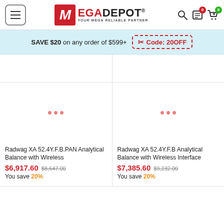[Figure (logo): MegaDepot logo with hamburger menu, search icon, list icon, and cart icon]
SAVE $20 on any order of $599+  Code: 20OFF
Radwag XA 52.4Y.F.B.PAN Analytical Balance with Wireless
$6,917.60  $8,647.00
You save 20%
Radwag XA 52.4Y.F.B Analytical Balance with Wireless Interface
$7,385.60  $9,232.00
You save 20%